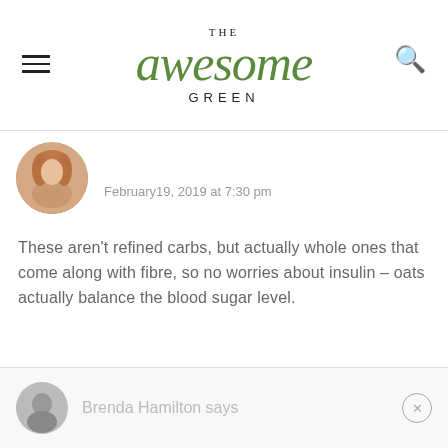THE awesome GREEN
[Figure (photo): Circular avatar photo of a woman with blonde hair]
February19, 2019 at 7:30 pm
These aren't refined carbs, but actually whole ones that come along with fibre, so no worries about insulin – oats actually balance the blood sugar level.
Reply
Brenda Hamilton says